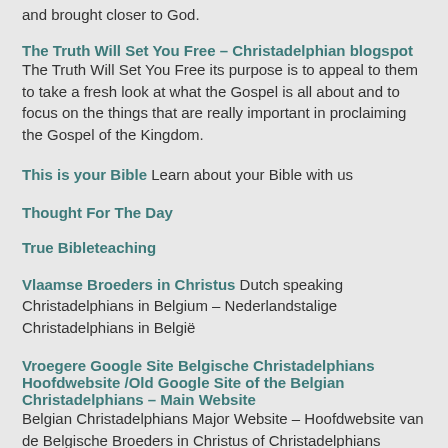and brought closer to God.
The Truth Will Set You Free – Christadelphian blogspot The Truth Will Set You Free its purpose is to appeal to them to take a fresh look at what the Gospel is all about and to focus on the things that are really important in proclaiming the Gospel of the Kingdom.
This is your Bible Learn about your Bible with us
Thought For The Day
True Bibleteaching
Vlaamse Broeders in Christus Dutch speaking Christadelphians in Belgium – Nederlandstalige Christadelphians in België
Vroegere Google Site Belgische Christadelphians Hoofdwebsite /Old Google Site of the Belgian Christadelphians – Main Website Belgian Christadelphians Major Website – Hoofdwebsite van de Belgische Broeders in Christus of Christadelphians
Walsall Christadelphians Aldridge Christadelphian community